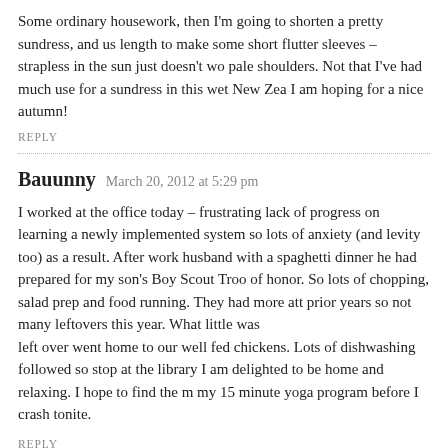Some ordinary housework, then I'm going to shorten a pretty sundress, and us length to make some short flutter sleeves – strapless in the sun just doesn't wo pale shoulders. Not that I've had much use for a sundress in this wet New Zea I am hoping for a nice autumn!
REPLY
Bauunny  March 20, 2012 at 5:29 pm
I worked at the office today – frustrating lack of progress on learning a newly implemented system so lots of anxiety (and levity too) as a result. After work husband with a spaghetti dinner he had prepared for my son's Boy Scout Troo of honor. So lots of chopping, salad prep and food running. They had more att prior years so not many leftovers this year. What little was left over went home to our well fed chickens. Lots of dishwashing followed so stop at the library I am delighted to be home and relaxing. I hope to find the m my 15 minute yoga program before I crash tonite.
REPLY